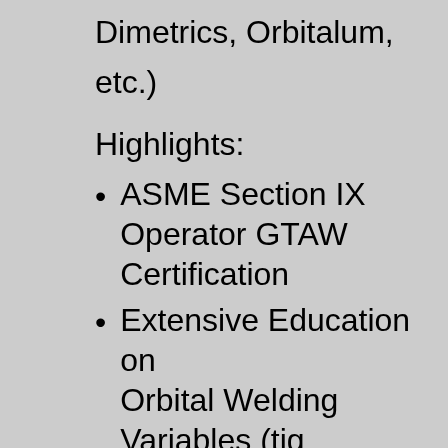Dimetrics, Orbitalum, etc.)
Highlights:
ASME Section IX Operator GTAW Certification
Extensive Education on Orbital Welding Variables (tig process, mechanics, programming, metallurgy, purging)
Installation Protocol Procedures: Cutting, Facing, Tacking, Fit-up & High Purity Material